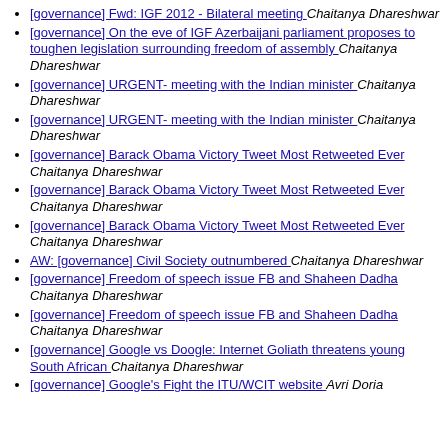[governance] Fwd: IGF 2012 - Bilateral meeting  Chaitanya Dhareshwar
[governance] On the eve of IGF Azerbaijani parliament proposes to toughen legislation surrounding freedom of assembly  Chaitanya Dhareshwar
[governance] URGENT- meeting with the Indian minister  Chaitanya Dhareshwar
[governance] URGENT- meeting with the Indian minister  Chaitanya Dhareshwar
[governance] Barack Obama Victory Tweet Most Retweeted Ever  Chaitanya Dhareshwar
[governance] Barack Obama Victory Tweet Most Retweeted Ever  Chaitanya Dhareshwar
[governance] Barack Obama Victory Tweet Most Retweeted Ever  Chaitanya Dhareshwar
AW: [governance] Civil Society outnumbered  Chaitanya Dhareshwar
[governance] Freedom of speech issue FB and Shaheen Dadha  Chaitanya Dhareshwar
[governance] Freedom of speech issue FB and Shaheen Dadha  Chaitanya Dhareshwar
[governance] Google vs Doogle: Internet Goliath threatens young South African  Chaitanya Dhareshwar
[governance] Google's Fight the ITU/WCIT website  Avri Doria